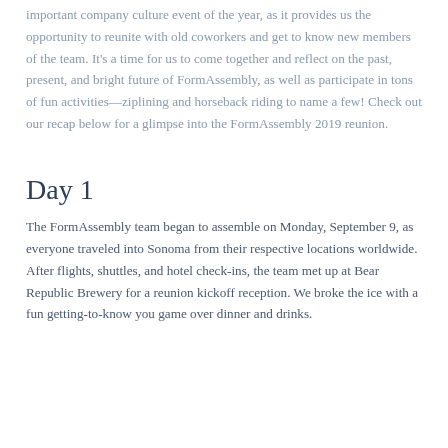important company culture event of the year, as it provides us the opportunity to reunite with old coworkers and get to know new members of the team. It's a time for us to come together and reflect on the past, present, and bright future of FormAssembly, as well as participate in tons of fun activities—ziplining and horseback riding to name a few! Check out our recap below for a glimpse into the FormAssembly 2019 reunion.
Day 1
The FormAssembly team began to assemble on Monday, September 9, as everyone traveled into Sonoma from their respective locations worldwide. After flights, shuttles, and hotel check-ins, the team met up at Bear Republic Brewery for a reunion kickoff reception. We broke the ice with a fun getting-to-know you game over dinner and drinks.